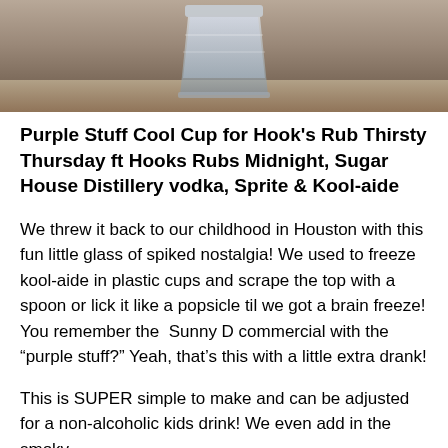[Figure (photo): Close-up photo of a cup/glass with a frozen drink, appears to be a purple frozen drink, sitting on a surface]
Purple Stuff Cool Cup for Hook's Rub Thirsty Thursday ft Hooks Rubs Midnight, Sugar House Distillery vodka, Sprite & Kool-aide
We threw it back to our childhood in Houston with this fun little glass of spiked nostalgia! We used to freeze kool-aide in plastic cups and scrape the top with a spoon or lick it like a popsicle til we got a brain freeze! You remember the Sunny D commercial with the “purple stuff?” Yeah, that’s this with a little extra drank!
This is SUPER simple to make and can be adjusted for a non-alcoholic kids drink! We even add in the smoky